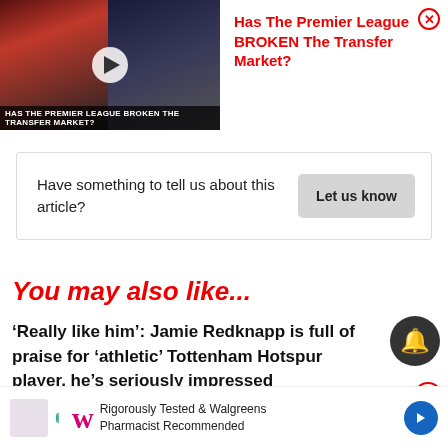[Figure (screenshot): Video thumbnail showing two football players - one in red Manchester United kit and one in black and white Newcastle United kit. Play button overlay and title bar reading 'Has The Premier League Broken The Transfer Market?']
Has The Premier League BROKEN The Transfer Market?
Have something to tell us about this article?
Let us know
You may also like...
‘Really like him’: Jamie Redknapp is full of praise for ‘athletic’ Tottenham Hotspur player, he’s seriously impressed
[Figure (screenshot): Advertisement for Walgreens: Rigorously Tested & Walgreens Pharmacist Recommended]